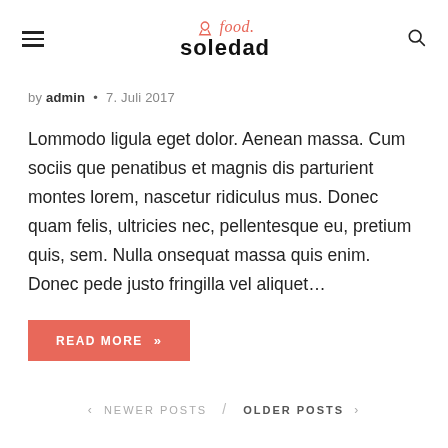food. soledad
by admin • 7. Juli 2017
Lommodo ligula eget dolor. Aenean massa. Cum sociis que penatibus et magnis dis parturient montes lorem, nascetur ridiculus mus. Donec quam felis, ultricies nec, pellentesque eu, pretium quis, sem. Nulla onsequat massa quis enim. Donec pede justo fringilla vel aliquet...
READ MORE »
< NEWER POSTS / OLDER POSTS >